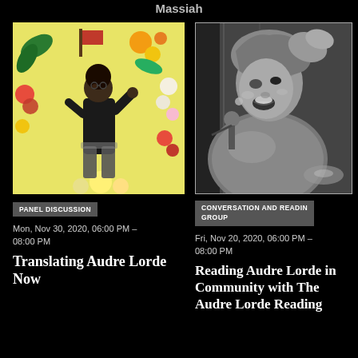Massiah
[Figure (illustration): Colorful illustration of a person surrounded by flowers on a yellow background]
PANEL DISCUSSION
Mon, Nov 30, 2020, 06:00 PM – 08:00 PM
Translating Audre Lorde Now
[Figure (photo): Black and white photograph of a woman singing at a microphone, wearing a head wrap]
CONVERSATION AND READIN GROUP
Fri, Nov 20, 2020, 06:00 PM – 08:00 PM
Reading Audre Lorde in Community with The Audre Lorde Reading